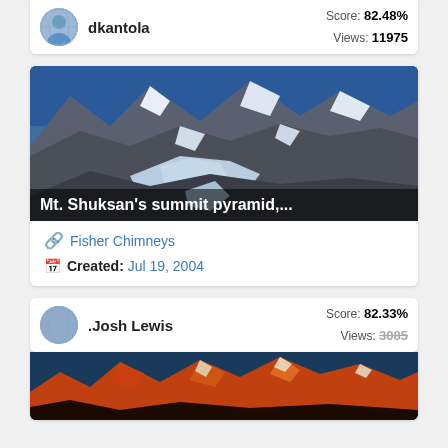dkantola — Score: 82.48% Views: 11975
[Figure (photo): Mt. Shuksan's summit pyramid with snow and rocky peaks against blue sky]
Mt. Shuksan's summit pyramid,...
Fisher Chimneys
Created: Jul 19, 2004
Josh Lewis — Score: 82.33% Views: 3085
[Figure (photo): Orange/red rocky mountain peaks at sunset or sunrise]